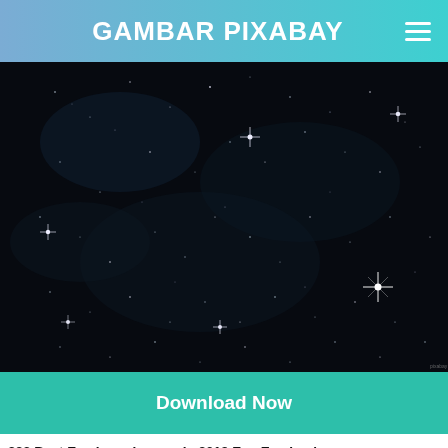GAMBAR PIXABAY
[Figure (photo): Dark space/night sky photograph showing numerous stars and bright star points with diffraction spikes against a very dark background]
Download Now
223 Best Exo Logo Images In 2019 Exo Exo Lockscreen